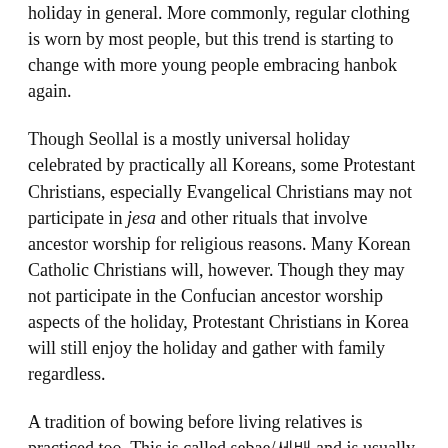holiday in general. More commonly, regular clothing is worn by most people, but this trend is starting to change with more young people embracing hanbok again.
Though Seollal is a mostly universal holiday celebrated by practically all Koreans, some Protestant Christians, especially Evangelical Christians may not participate in jesa and other rituals that involve ancestor worship for religious reasons. Many Korean Catholic Christians will, however. Though they may not participate in the Confucian ancestor worship aspects of the holiday, Protestant Christians in Korea will still enjoy the holiday and gather with family regardless.
A tradition of bowing before living relatives is practiced too. This is called sebae/세배 and is usually performed by younger children before grandparents in exchange for pocket money. Though, depending on one's grandparents, and how well the children bow and show respect, they may make off with hundreds of dollars in